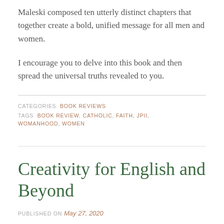Maleski composed ten utterly distinct chapters that together create a bold, unified message for all men and women.
I encourage you to delve into this book and then spread the universal truths revealed to you.
CATEGORIES  BOOK REVIEWS
TAGS  BOOK REVIEW, CATHOLIC, FAITH, JPII, WOMANHOOD, WOMEN
Creativity for English and Beyond
PUBLISHED ON May 27, 2020